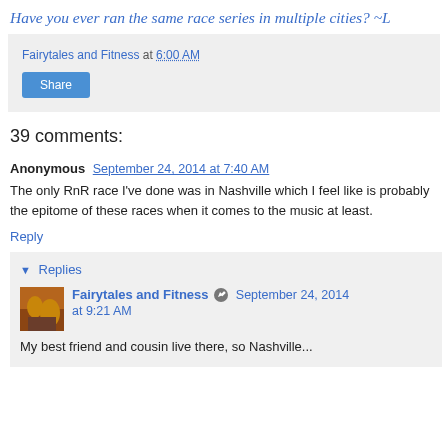Have you ever ran the same race series in multiple cities? ~L
Fairytales and Fitness at 6:00 AM
Share
39 comments:
Anonymous  September 24, 2014 at 7:40 AM
The only RnR race I've done was in Nashville which I feel like is probably the epitome of these races when it comes to the music at least.
Reply
▼ Replies
Fairytales and Fitness  September 24, 2014 at 9:21 AM
My best friend and cousin live there, so Nashville...